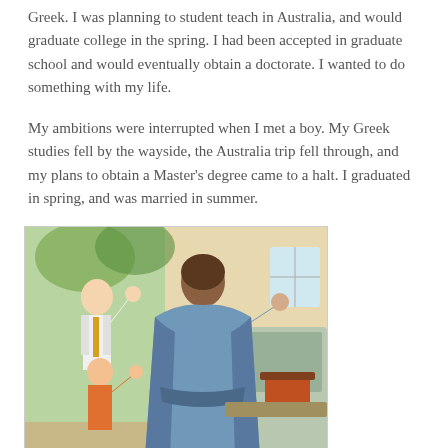Greek. I was planning to student teach in Australia, and would graduate college in the spring. I had been accepted in graduate school and would eventually obtain a doctorate. I wanted to do something with my life.
My ambitions were interrupted when I met a boy. My Greek studies fell by the wayside, the Australia trip fell through, and my plans to obtain a Master's degree came to a halt. I graduated in spring, and was married in summer.
[Figure (illustration): Vintage illustration showing a woman in a blue robe standing at a kitchen stove, viewed from behind, while a man in a shirt and tie and a child wave to her from outside through a window or door opening. The scene depicts a 1950s-style domestic setting.]